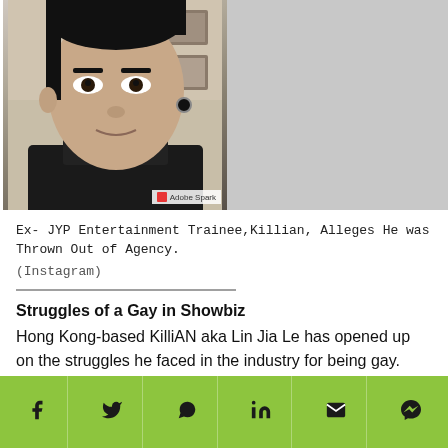[Figure (photo): Two side-by-side selfie photos of KilliAN (Lin Jia Le). Left photo shows a young Asian man with light makeup and reddish lips. Right photo shows the same or similar man in a black t-shirt with an earring. Adobe Spark watermark in bottom right.]
Ex- JYP Entertainment Trainee,Killian, Alleges He was Thrown Out of Agency.
(Instagram)
Struggles of a Gay in Showbiz
Hong Kong-based KilliAN aka Lin Jia Le has opened up on the struggles he faced in the industry for being gay. According to him, he received a contract from JYP Entertainment as a trainee when he was 14 and the agency was prepping up for the debut of 2PM and 2AM
Social share bar: Facebook, Twitter, WhatsApp, LinkedIn, Email, Messenger